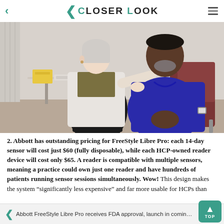< Closer Look
[Figure (photo): A female healthcare provider in a white lab coat applies or examines something on the upper arm of a male patient in a blue polo shirt, seated in a clinical exam room. There is a small table with medical supplies nearby.]
2. Abbott has outstanding pricing for FreeStyle Libre Pro: each 14-day sensor will cost just $60 (fully disposable), while each HCP-owned reader device will cost only $65. A reader is compatible with multiple sensors, meaning a practice could own just one reader and have hundreds of patients running sensor sessions simultaneously. Wow! This design makes the system “significantly less expensive” and far more usable for HCPs than
Abbott FreeStyle Libre Pro receives FDA approval, launch in coming wee...